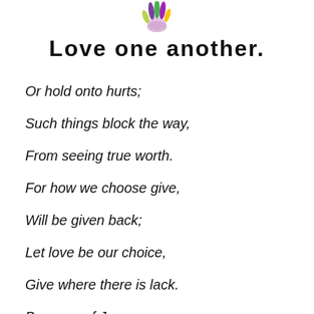[Figure (illustration): Small colorful hand icon with purple and green/yellow colors at the top center of the page]
Love one another.
Or hold onto hurts;
Such things block the way,
From seeing true worth.
For how we choose give,
Will be given back;
Let love be our choice,
Give where there is lack.
Because of Jesus,